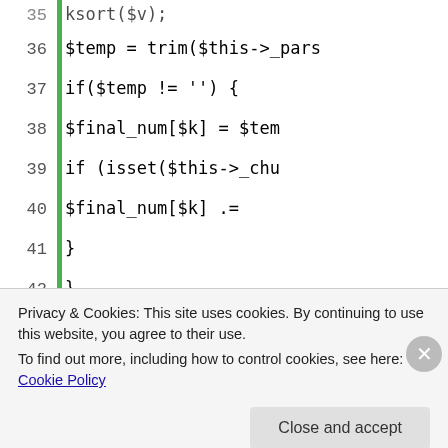[Figure (screenshot): PHP source code viewer showing lines 35-52 with a green vertical bar on the left. Code includes array operations, trim, isset checks, parsed_number_text assignment, return statements, __toString method, and start of private function parse_num.]
Privacy & Cookies: This site uses cookies. By continuing to use this website, you agree to their use.
To find out more, including how to control cookies, see here: Cookie Policy